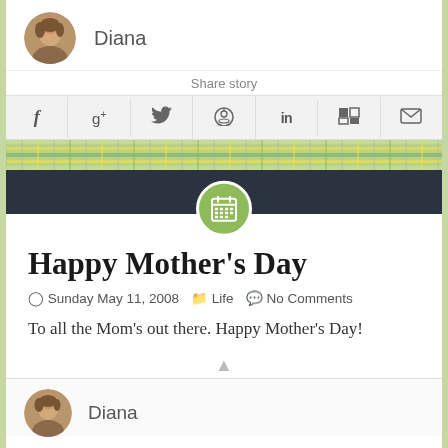[Figure (photo): Circular avatar photo of Diana, a woman with light brown hair]
Diana
Share story
[Figure (infographic): Social sharing icons bar: Facebook, Google+, Twitter, Reddit, LinkedIn, StumbleUpon, Email]
[Figure (infographic): Plaid/tartan decorative banner in yellow, green, and blue]
[Figure (infographic): Dark navy bar with a green circle containing a calendar icon in the center]
Happy Mother's Day
Sunday May 11, 2008   Life   No Comments
To all the Mom's out there. Happy Mother's Day!
[Figure (photo): Circular avatar photo of Diana at the bottom of the page]
Diana